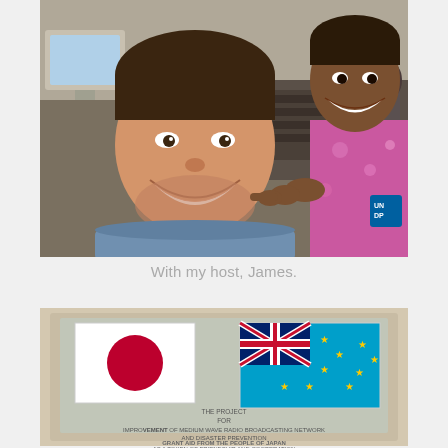[Figure (photo): Two men posing for a selfie in what appears to be a radio broadcasting studio. The man on the left is wearing a blue shirt and smiling broadly. The man on the right is wearing a pink floral shirt with a UNDP badge and is making a pointing gesture. Radio equipment and mixing boards are visible in the background.]
With my host, James.
[Figure (photo): A plaque or sign mounted on a wall showing the Japanese flag and the flag of Tuvalu. Below the flags, text reads: 'THE PROJECT FOR IMPROVEMENT OF MEDIUM WAVE RADIO BROADCASTING NETWORK AND DISASTER PREVENTION. GRANT AID FROM THE PEOPLE OF JAPAN AS A TOKEN OF FRIENDSHIP AND COOPERATION']